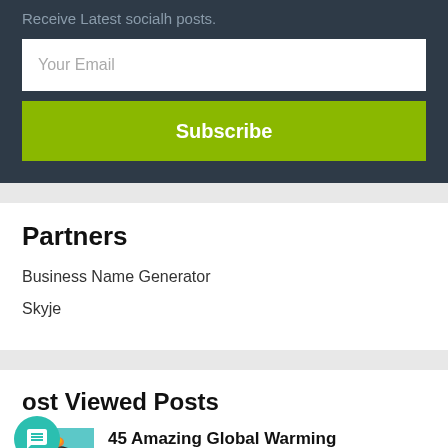Receive Latest socialh posts.
Your Email
Subscribe
Partners
Business Name Generator
Skyje
ost Viewed Posts
45 Amazing Global Warming Awareness